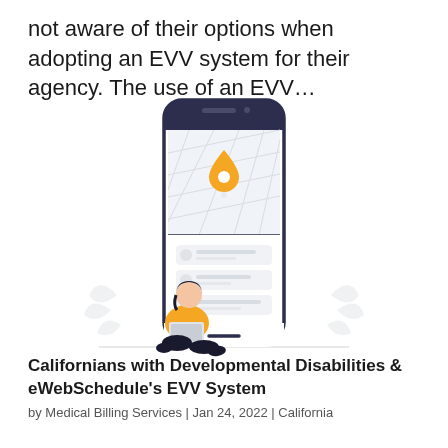not aware of their options when adopting an EVV system for their agency. The use of an EVV…
[Figure (illustration): Illustration of a large smartphone displaying a map with a location pin on top half and UI list items on lower half, with a person sitting cross-legged in front of the phone using a laptop, wearing a yellow jacket. Decorative leaf motifs on either side at bottom.]
Californians with Developmental Disabilities & eWebSchedule's EVV System
by Medical Billing Services | Jan 24, 2022 | California